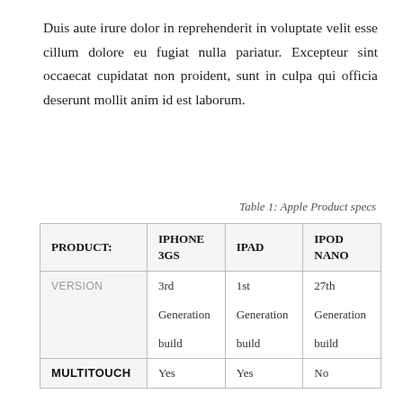Duis aute irure dolor in reprehenderit in voluptate velit esse cillum dolore eu fugiat nulla pariatur. Excepteur sint occaecat cupidatat non proident, sunt in culpa qui officia deserunt mollit anim id est laborum.
Table 1: Apple Product specs
| PRODUCT: | IPHONE 3GS | IPAD | IPOD NANO |
| --- | --- | --- | --- |
| VERSION | 3rd Generation build | 1st Generation build | 27th Generation build |
| MULTITOUCH | Yes | Yes | No |